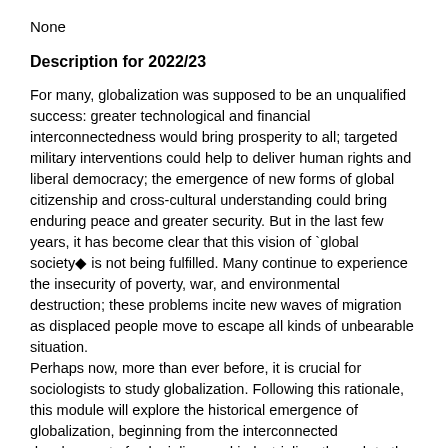None
Description for 2022/23
For many, globalization was supposed to be an unqualified success: greater technological and financial interconnectedness would bring prosperity to all; targeted military interventions could help to deliver human rights and liberal democracy; the emergence of new forms of global citizenship and cross-cultural understanding could bring enduring peace and greater security. But in the last few years, it has become clear that this vision of `global society� is not being fulfilled. Many continue to experience the insecurity of poverty, war, and environmental destruction; these problems incite new waves of migration as displaced people move to escape all kinds of unbearable situation.
Perhaps now, more than ever before, it is crucial for sociologists to study globalization. Following this rationale, this module will explore the historical emergence of globalization, beginning from the interconnected development of colonialism and industrialism through to the post-industrial age of American hegemony and the rise of the new global economy.